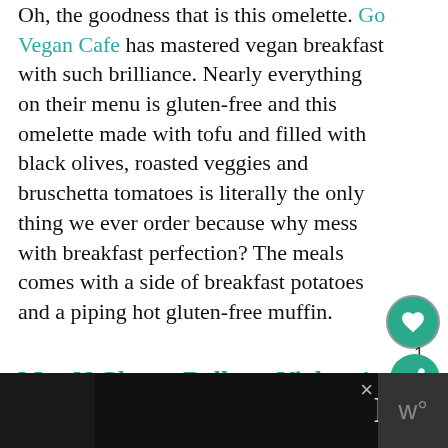Oh, the goodness that is this omelette. Go Vegan Cafe has mastered vegan breakfast with such brilliance. Nearly everything on their menu is gluten-free and this omelette made with tofu and filled with black olives, roasted veggies and bruschetta tomatoes is literally the only thing we ever order because why mess with breakfast perfection? The meals comes with a side of breakfast potatoes and a piping hot gluten-free muffin.
Mac N Cheese Balls — Violette's
[Figure (other): Advertisement banner at the bottom with LOVE logo text in decorative style and a close button]